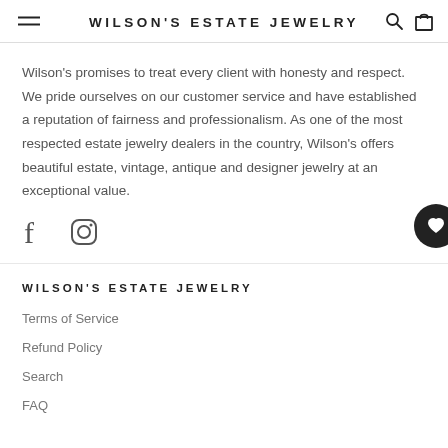WILSON'S ESTATE JEWELRY
Wilson's promises to treat every client with honesty and respect. We pride ourselves on our customer service and have established a reputation of fairness and professionalism. As one of the most respected estate jewelry dealers in the country, Wilson's offers beautiful estate, vintage, antique and designer jewelry at an exceptional value.
[Figure (logo): Social media icons: Facebook (f) and Instagram (circle with rounded square inside), plus a circular black wishlist/heart button on the right]
WILSON'S ESTATE JEWELRY
Terms of Service
Refund Policy
Search
FAQ